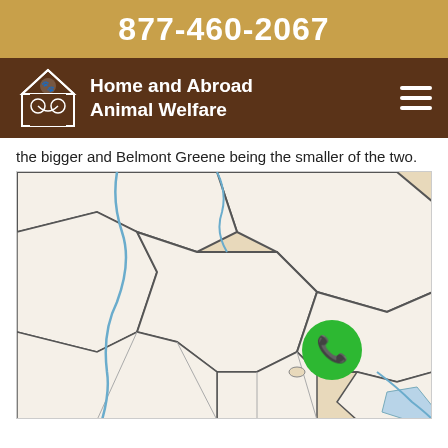877-460-2067
Home and Abroad Animal Welfare
the bigger and Belmont Greene being the smaller of the two.
[Figure (map): County/district map showing subdivided regions with blue waterways running through them, and a green phone button overlay in the lower-right area of the map.]